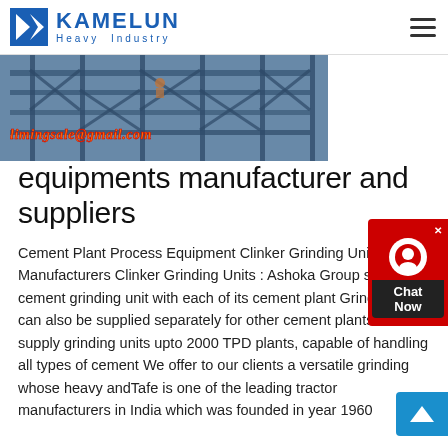[Figure (logo): Kamelun Heavy Industry logo with blue K chevron icon and company name]
[Figure (photo): Industrial steel structure/scaffolding construction site photo with email overlay text limingsale@gmail.com]
equipments manufacturer and suppliers
Cement Plant Process Equipment Clinker Grinding Unit Manufacturers Clinker Grinding Units : Ashoka Group supplies a cement grinding unit with each of its cement plant Grinding units can also be supplied separately for other cement plants We supply grinding units upto 2000 TPD plants, capable of handling all types of cement We offer to our clients a versatile grinding whose heavy andTafe is one of the leading tractor manufacturers in India which was founded in year 1960